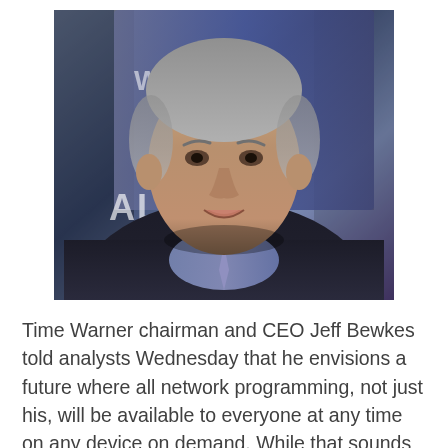[Figure (photo): Photograph of Time Warner chairman and CEO Jeff Bewkes, a middle-aged man with grey hair wearing a dark suit, speaking or being photographed at an event. Blue banner/sign visible in background.]
Time Warner chairman and CEO Jeff Bewkes told analysts Wednesday that he envisions a future where all network programming, not just his, will be available to everyone at any time on any device on demand. While that sounds a lot like the TV Everywhere concept that Bewkes pioneered about fve